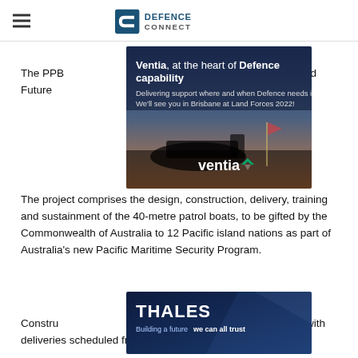DEFENCE CONNECT
[Figure (advertisement): Ventia advertisement: 'Ventia, at the heart of Defence capability. Delivering support where and when Defence needs it most. We'll see you in Brisbane at Land Forces 2022!' with military imagery at sunset and Ventia logo.]
The PPB ... building capability ... and Future ... 2020, respectively.
The project comprises the design, construction, delivery, training and sustainment of the 40-metre patrol boats, to be gifted by the Commonwealth of Australia to 12 Pacific island nations as part of Australia's new Pacific Maritime Security Program.
[Figure (advertisement): Thales advertisement: 'THALES Building a future we can all trust' with military themed background.]
Constru... stern Australia in April this year, with deliveries scheduled from 2018